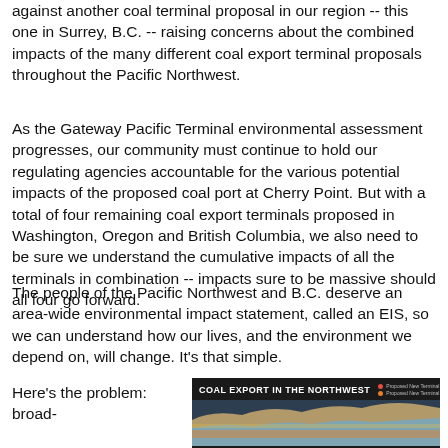against another coal terminal proposal in our region -- this one in Surrey, B.C. -- raising concerns about the combined impacts of the many different coal export terminal proposals throughout the Pacific Northwest.
As the Gateway Pacific Terminal environmental assessment progresses, our community must continue to hold our regulating agencies accountable for the various potential impacts of the proposed coal port at Cherry Point. But with a total of four remaining coal export terminals proposed in Washington, Oregon and British Columbia, we also need to be sure we understand the cumulative impacts of all the terminals in combination -- impacts sure to be massive should all four go forward.
The people of the Pacific Northwest and B.C. deserve an area-wide environmental impact statement, called an EIS, so we can understand how our lives, and the environment we depend on, will change. It's that simple.
Here's the problem: broad-
[Figure (infographic): Dark banner image titled 'COAL EXPORT IN THE NORTHWEST' with a map graphic below showing the Pacific Northwest region with colored indicators for coal terminal proposals.]